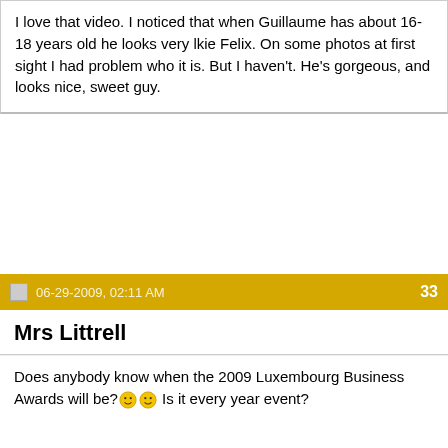I love that video. I noticed that when Guillaume has about 16-18 years old he looks very lkie Felix. On some photos at first sight I had problem who it is. But I haven't. He's gorgeous, and looks nice, sweet guy.
06-29-2009, 02:11 AM   33
Mrs Littrell
Does anybody know when the 2009 Luxembourg Business Awards will be? Is it every year event?